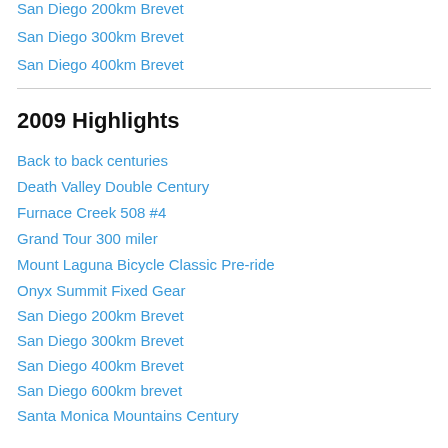San Diego 200km Brevet
San Diego 300km Brevet
San Diego 400km Brevet
2009 Highlights
Back to back centuries
Death Valley Double Century
Furnace Creek 508 #4
Grand Tour 300 miler
Mount Laguna Bicycle Classic Pre-ride
Onyx Summit Fixed Gear
San Diego 200km Brevet
San Diego 300km Brevet
San Diego 400km Brevet
San Diego 600km brevet
Santa Monica Mountains Century
Training Peaks Features
Trans Iowa V.5
Wordless of Climbing